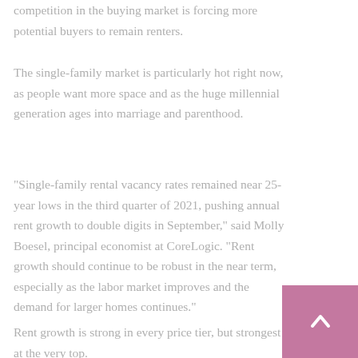competition in the buying market is forcing more potential buyers to remain renters.
The single-family market is particularly hot right now, as people want more space and as the huge millennial generation ages into marriage and parenthood.
“Single-family rental vacancy rates remained near 25-year lows in the third quarter of 2021, pushing annual rent growth to double digits in September,” said Molly Boesel, principal economist at CoreLogic. “Rent growth should continue to be robust in the near term, especially as the labor market improves and the demand for larger homes continues.”
Rent growth is strong in every price tier, but strongest at the very top.